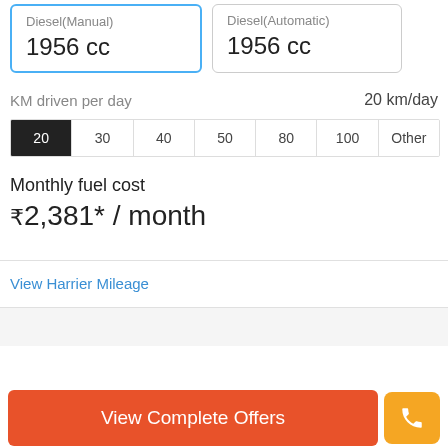Diesel(Manual) 1956 cc
Diesel(Automatic) 1956 cc
KM driven per day
20 km/day
20 | 30 | 40 | 50 | 80 | 100 | Other
Monthly fuel cost
₹2,381* / month
View Harrier Mileage
View Complete Offers